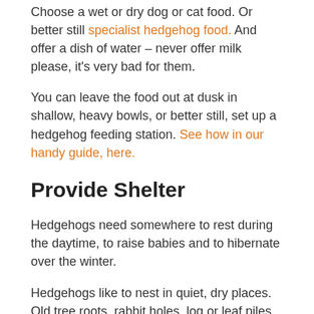Choose a wet or dry dog or cat food. Or better still specialist hedgehog food. And offer a dish of water – never offer milk please, it's very bad for them.
You can leave the food out at dusk in shallow, heavy bowls, or better still, set up a hedgehog feeding station. See how in our handy guide, here.
Provide Shelter
Hedgehogs need somewhere to rest during the daytime, to raise babies and to hibernate over the winter.
Hedgehogs like to nest in quiet, dry places. Old tree roots, rabbit holes, log or leaf piles and underneath sheds are favourite places.
If your garden is lacking in natural nesting sites you could provide a hedgehog house.
A hedgehog house will give your hogs a safe, dry place to